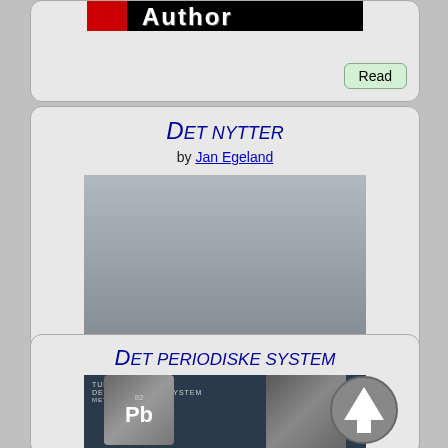[Figure (screenshot): Partial book card showing 'Author' label on dark background with red bar, and a 'Read' button]
Det nytter
by Jan Egeland
[Figure (photo): Book cover of 'Det Nytter' by Jan Egeland showing a man in a dark shirt with red banner and yellow title text]
Unread
Det periodiske system
by Turid Høvin
[Figure (photo): Book cover of 'Det Periodiske System' by Turid Høvin showing periodic table element boxes (Pb) on dark background]